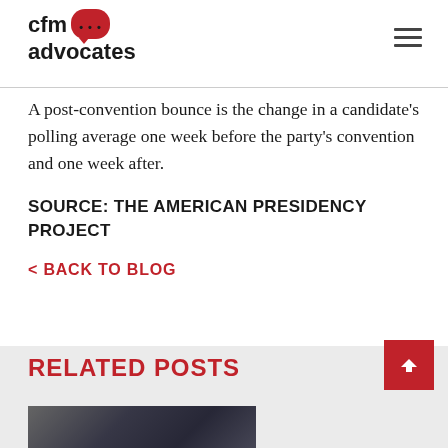[Figure (logo): CFM Advocates logo with red speech bubble containing ellipsis dots]
A post-convention bounce is the change in a candidate's polling average one week before the party's convention and one week after.
SOURCE: THE AMERICAN PRESIDENCY PROJECT
< BACK TO BLOG
RELATED POSTS
[Figure (photo): Related post thumbnail image showing a dark cityscape]